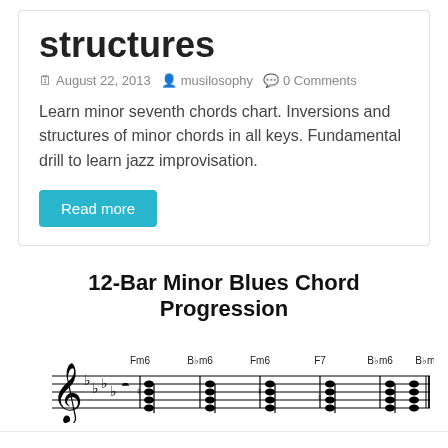structures
August 22, 2013   musilosophy   0 Comments
Learn minor seventh chords chart. Inversions and structures of minor chords in all keys. Fundamental drill to learn jazz improvisation.
Read more
12-Bar Minor Blues Chord Progression
[Figure (illustration): Musical staff notation showing a 12-bar minor blues chord progression in the key of F minor, with chords labeled Fm6, Bbm6, Fm6, F7, Bbm6, Bbm6 written in common time with flat key signature.]
This website uses cookies to improve your experience. We'll assume you're ok with this, but you can opt-out if you wish.
Accept   Read More